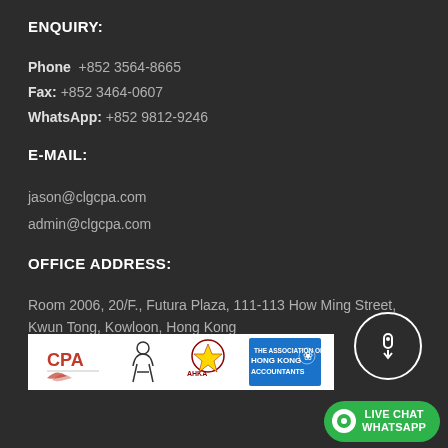ENQUIRY:
Phone  +852 3564-8665
Fax: +852 3464-0607
WhatsApp: +852 9812-9246
E-MAIL:
jason@clgcpa.com
admin@clgcpa.com
OFFICE ADDRESS:
Room 2006, 20/F., Futura Plaza, 111-113 How Ming Street, Kwun Tong, Kowloon, Hong Kong
PROFESSIONAL QUALIFICATIONS:
[Figure (logo): Professional qualification logos: CPA, AHKA, and Hong Kong Accountants association logos]